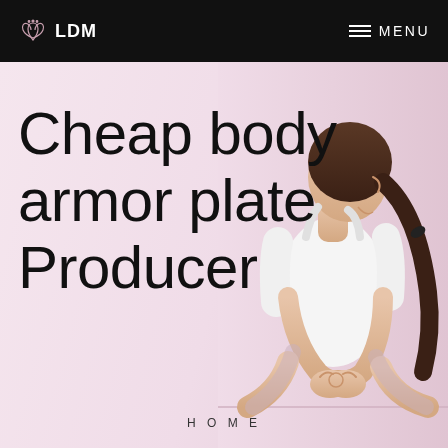LDM  MENU
[Figure (photo): Woman in white tank top sitting in yoga/meditation pose with hands in mudra gesture, photographed from the side. Background is plain light/white. Hair in ponytail.]
Cheap body armor plate Producer
HOME